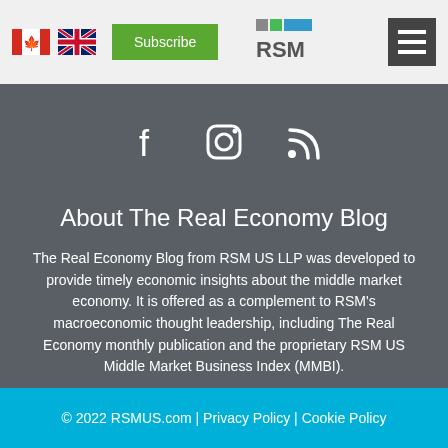RSM - Subscribe - Real Economy Blog
[Figure (logo): RSM logo with grey and green/blue squares]
[Figure (infographic): Social media icons: Facebook, Instagram, RSS feed]
About The Real Economy Blog
The Real Economy Blog from RSM US LLP was developed to provide timely economic insights about the middle market economy. It is offered as a complement to RSM's macroeconomic thought leadership, including The Real Economy monthly publication and the proprietary RSM US Middle Market Business Index (MMBI).
© 2022 RSMUS.com | Privacy Policy | Cookie Policy